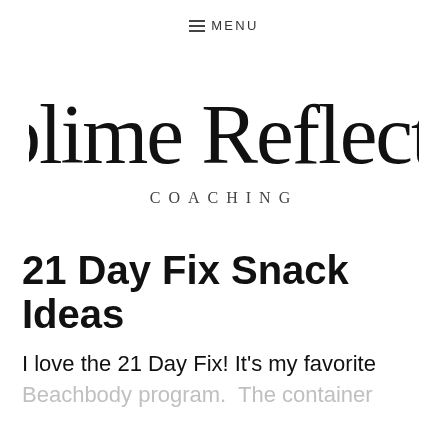≡ MENU
[Figure (logo): Sublime Reflection Coaching logo — cursive script text 'Sublime Reflection' with 'COACHING' in spaced serif capitals below]
21 Day Fix Snack Ideas
I love the 21 Day Fix! It's my favorite
Beachbody program.  The container